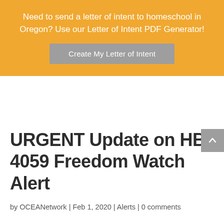Need to send a letter of intent to homeschool in Oregon? Use our Letter of Intent PDF Generator!
Create My Letter of Intent
URGENT Update on HB 4059 Freedom Watch Alert
by OCEANetwork | Feb 1, 2020 | Alerts | 0 comments